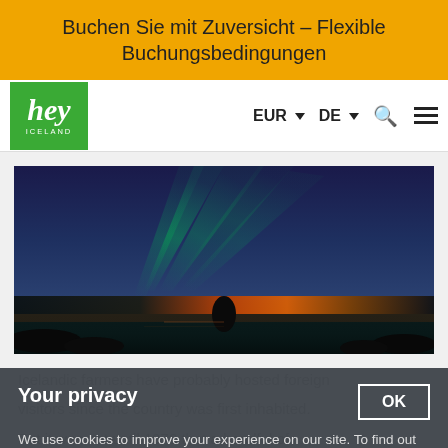Buchen Sie mit Zuversicht – Flexible Buchungsbedingungen
[Figure (logo): hey ICELAND logo — white italic text on green background]
EUR ▾  DE ▾  🔍  ≡
[Figure (photo): Northern lights (aurora borealis) over a rocky seascape at sunset/dusk. Green aurora streaks illuminate a deep blue sky; orange glow on the horizon behind a lone rock stack in calm water.]
Your privacy
We use cookies to improve your experience on our site. To find out more, read our updated Privacy policy and Cookie policy.
Icelandic farmers have probably hosted foreign visitors since the country was first inhabited. But it was not until 1970 that a handful of